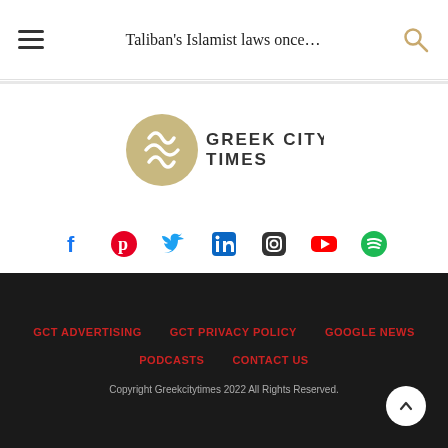Taliban's Islamist laws once...
[Figure (logo): Greek City Times logo — circular tan/gold emblem with white wave/leaf marks, followed by 'GREEK CITY TIMES' text in dark grey]
[Figure (infographic): Social media icons row: Facebook (blue), Pinterest (red), Twitter (blue), LinkedIn (blue), Instagram (dark), YouTube (red), Spotify (green)]
GCT ADVERTISING  GCT PRIVACY POLICY  GOOGLE NEWS  PODCASTS  CONTACT US  Copyright Greekcitytimes 2022 All Rights Reserved.